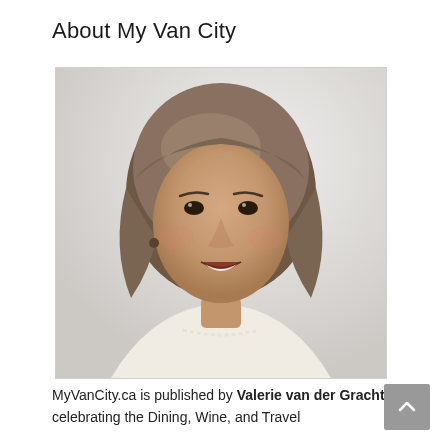About My Van City
[Figure (photo): Portrait photo of a woman with short brown bob haircut, smiling, wearing a white blazer and pearl necklace, against a light grey/white background.]
MyVanCity.ca is published by Valerie van der Gracht celebrating the Dining, Wine, and Travel